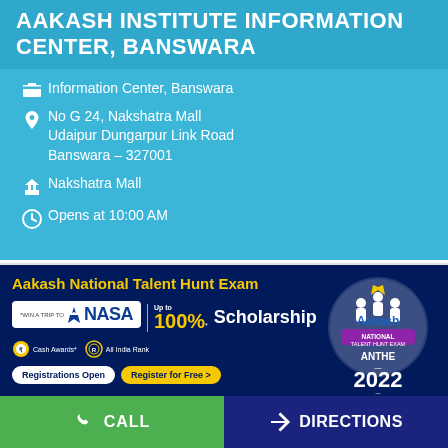AAKASH INSTITUTE INFORMATION CENTER, BANSWARA
Information Center, Banswara
No G 24, Nakshatra Mall
Udaipur Dungarpur Link Road
Banswara – 327001
Nakshatra Mall
Opens at 10:00 AM
[Figure (infographic): Aakash National Talent Hunt Exam advertisement banner. Yellow heading 'Aakash National Talent Hunt Exam'. NASA logo with '*Win a trip to', Up to 100%* Scholarship. Cash Awards and All India Rank badges. Registrations Open, Register for Free buttons. Right side: Aakash ANTHE 2022 circular logo, For Class VII to XII.]
CALL
DIRECTIONS